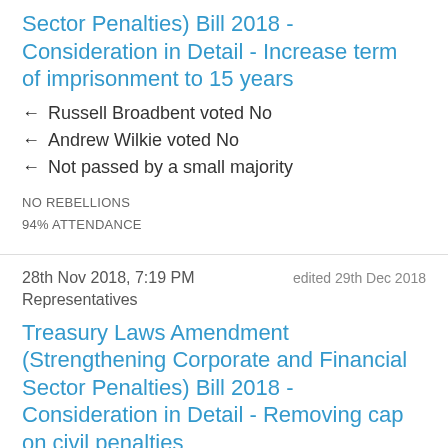Sector Penalties) Bill 2018 - Consideration in Detail - Increase term of imprisonment to 15 years
← Russell Broadbent voted No
← Andrew Wilkie voted No
← Not passed by a small majority
NO REBELLIONS
94% ATTENDANCE
28th Nov 2018, 7:19 PM    edited 29th Dec 2018
Representatives
Treasury Laws Amendment (Strengthening Corporate and Financial Sector Penalties) Bill 2018 - Consideration in Detail - Removing cap on civil penalties